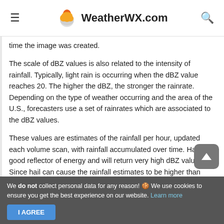WeatherWX.com
time the image was created.
The scale of dBZ values is also related to the intensity of rainfall. Typically, light rain is occurring when the dBZ value reaches 20. The higher the dBZ, the stronger the rainrate. Depending on the type of weather occurring and the area of the U.S., forecasters use a set of rainrates which are associated to the dBZ values.
These values are estimates of the rainfall per hour, updated each volume scan, with rainfall accumulated over time. Hail is a good reflector of energy and will return very high dBZ values. Since hail can cause the rainfall estimates to be higher than what is actually occurring, steps are taken to prevent these high dBZ values from being converted to rainfall.
We do not collect personal data for any reason! 🍪 We use cookies to ensure you get the best experience on our website. Learn more